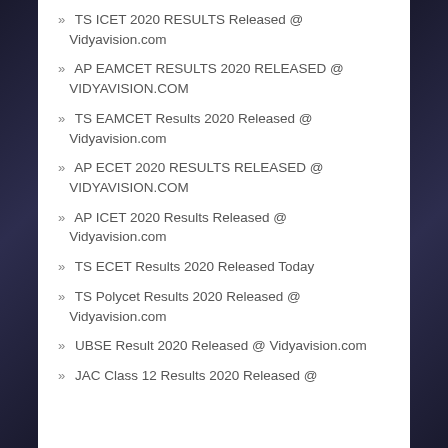» TS ICET 2020 RESULTS Released @ Vidyavision.com
» AP EAMCET RESULTS 2020 RELEASED @ VIDYAVISION.COM
» TS EAMCET Results 2020 Released @ Vidyavision.com
» AP ECET 2020 RESULTS RELEASED @ VIDYAVISION.COM
» AP ICET 2020 Results Released @ Vidyavision.com
» TS ECET Results 2020 Released Today
» TS Polycet Results 2020 Released @ Vidyavision.com
» UBSE Result 2020 Released @ Vidyavision.com
» JAC Class 12 Results 2020 Released @